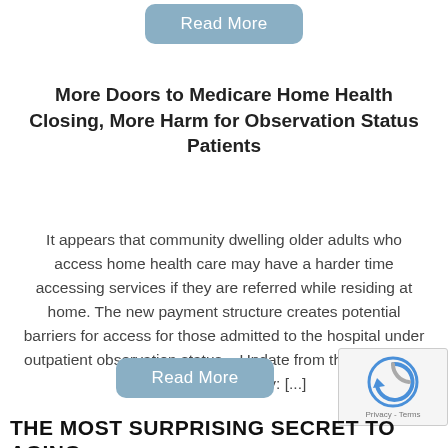[Figure (other): Read More button (blue/grey rounded rectangle)]
More Doors to Medicare Home Health Closing, More Harm for Observation Status Patients
It appears that community dwelling older adults who access home health care may have a harder time accessing services if they are referred while residing at home. The new payment structure creates potential barriers for access for those admitted to the hospital under outpatient observation status.  Update from the Center for Medicare Advocacy: [...]
[Figure (other): Read More button (blue/grey rounded rectangle)]
[Figure (other): reCAPTCHA badge with logo and Privacy - Terms text]
THE MOST SURPRISING SECRET TO AGING